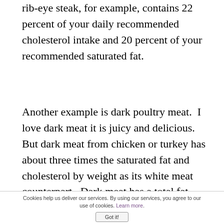rib-eye steak, for example, contains 22 percent of your daily recommended cholesterol intake and 20 percent of your recommended saturated fat.
Another example is dark poultry meat.  I love dark meat it is juicy and delicious.  But dark meat from chicken or turkey has about three times the saturated fat and cholesterol by weight as its white meat counterpart.  Dark meat has a total fat content of 11.2 grams with 2.97 g of saturated fat and 104.0 mg of cholesterol.  While white meat
Cookies help us deliver our services. By using our services, you agree to our use of cookies. Learn more. Got it!